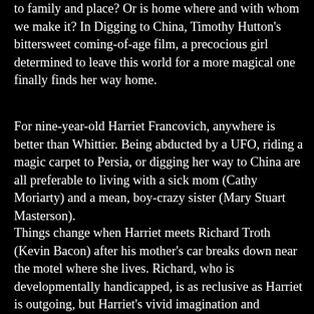to family and place? Or is home where and with whom we make it? In Digging to China, Timothy Hutton's bittersweet coming-of-age film, a precocious girl determined to leave this world for a more magical one finally finds her way home.
For nine-year-old Harriet Francovich, anywhere is better than Whittier. Being abducted by a UFO, riding a magic carpet to Persia, or digging her way to China are all preferable to living with a sick mom (Cathy Moriarty) and a mean, boy-crazy sister (Mary Stuart Masterson).
Things change when Harriet meets Richard Troth (Kevin Bacon) after his mother's car breaks down near the motel where she lives. Richard, who is developmentally handicapped, is as reclusive as Harriet is outgoing, but Harriet's vivid imagination and wanderlust are infectious, and the two are soon inseparable. In a fateful turn, Harriet...